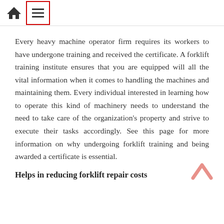Home | Menu
Every heavy machine operator firm requires its workers to have undergone training and received the certificate. A forklift training institute ensures that you are equipped will all the vital information when it comes to handling the machines and maintaining them. Every individual interested in learning how to operate this kind of machinery needs to understand the need to take care of the organization's property and strive to execute their tasks accordingly. See this page for more information on why undergoing forklift training and being awarded a certificate is essential.
Helps in reducing forklift repair costs